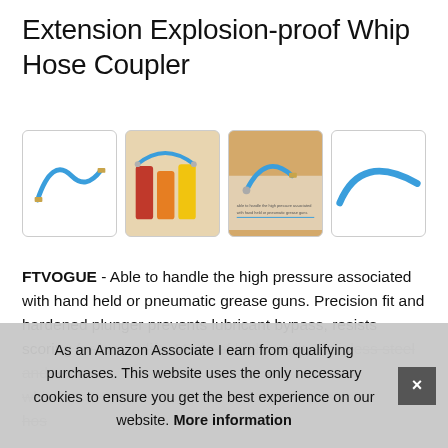Extension Explosion-proof Whip Hose Coupler
[Figure (photo): Four product images of a blue explosion-proof whip hose coupler: standalone hose, hose on gas pump nozzles, close-up with text overlay, and curved hose detail]
FTVOGUE - Able to handle the high pressure associated with hand held or pneumatic grease guns. Precision fit and hardened plunger prevents lubricant bypass, resists scoring for longer life. Made of high quality stainless steel and resin whic... hos...
As an Amazon Associate I earn from qualifying purchases. This website uses the only necessary cookies to ensure you get the best experience on our website. More information